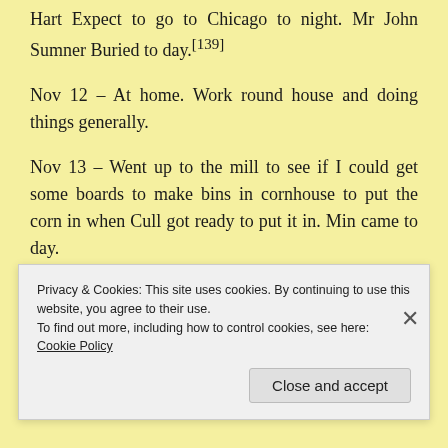Hart Expect to go to Chicago to night. Mr John Sumner Buried to day.[139]
Nov 12 – At home. Work round house and doing things generally.
Nov 13 – Went up to the mill to see if I could get some boards to make bins in cornhouse to put the corn in when Cull got ready to put it in. Min came to day.
Privacy & Cookies: This site uses cookies. By continuing to use this website, you agree to their use.
To find out more, including how to control cookies, see here: Cookie Policy